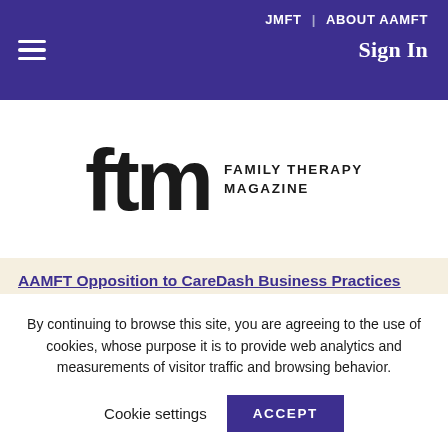JMFT | ABOUT AAMFT
[Figure (logo): ftm Family Therapy Magazine logo — large bold 'ftm' with 'FAMILY THERAPY MAGAZINE' text to the right]
AAMFT Opposition to CareDash Business Practices
Many AAMFT members may have heard about problems involving CareDash,…
By continuing to browse this site, you are agreeing to the use of cookies, whose purpose it is to provide web analytics and measurements of visitor traffic and browsing behavior.
Cookie settings  ACCEPT